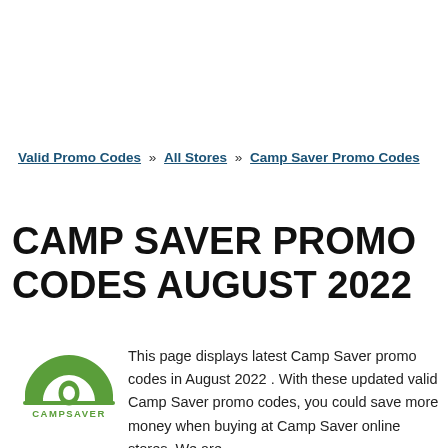Valid Promo Codes » All Stores » Camp Saver Promo Codes
CAMP SAVER PROMO CODES AUGUST 2022
[Figure (logo): CampSaver logo: green arch/tent shape above text CAMPSAVER]
This page displays latest Camp Saver promo codes in August 2022 . With these updated valid Camp Saver promo codes, you could save more money when buying at Camp Saver online stores. We are